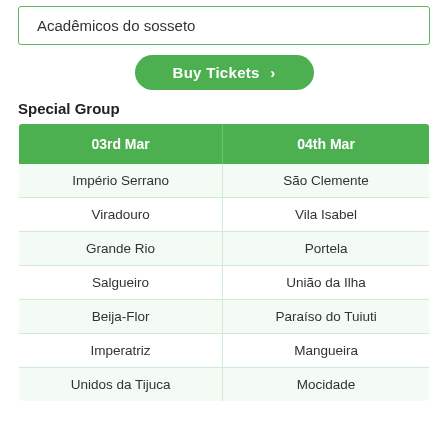Acadêmicos do sosseto
Buy Tickets ›
Special Group
| 03rd Mar | 04th Mar |
| --- | --- |
| Império Serrano | São Clemente |
| Viradouro | Vila Isabel |
| Grande Rio | Portela |
| Salgueiro | União da Ilha |
| Beija-Flor | Paraíso do Tuiuti |
| Imperatriz | Mangueira |
| Unidos da Tijuca | Mocidade |